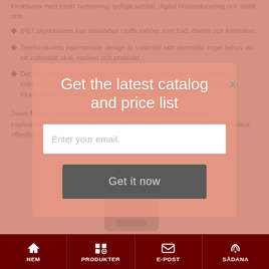fördelarna med exakt numrering, tydliga samtal, digital brusreducering och stabil drift.
IP67 skyddsklass kan användas i tuffa miljöer som fukt, damm och korrosion.
Telefonskalets patenterade design är vattentät och dammtät, inget behov av ett vattentätt skal, vackert och praktiskt.
Det kan vara ensamtal, gruppsamtal, alla samtal, hotline-uppringning, enknappsuppringning, etc. Det finns två typer av förstärkning och ingen förstärkning beroende på funktionsbehov.
Joiwo företagi Yuyao är Ningbo specialiserat på tillverkning av explosionssäkra/vattentäta telefoner, fängelsetelefoner och andra vandalsäkra offentliga telefoner i mer än 17 år.
[Figure (photo): Product image of a phone/device, teal/blue colored, partially visible at the bottom of the page]
[Figure (screenshot): Modal popup overlay with salmon/coral background. Title: 'Get the latest catalog and price list'. Email input field with placeholder 'Enter your email.'. Button 'Get it now'. Close button X in top right.]
HEM   PRODUKTER   E-POST   SÅDANA